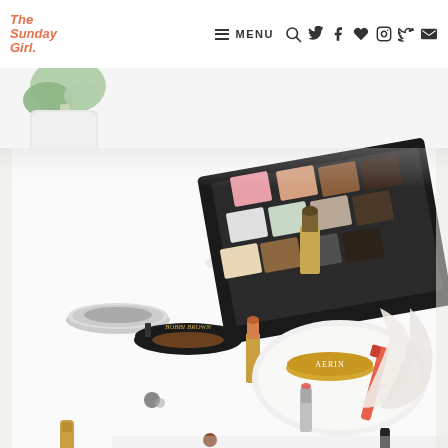The Sunday Girl. — MENU navigation with search, twitter, facebook, heart, instagram, pinterest, mail icons
[Figure (photo): Flatlay photo of beauty and makeup products on a white surface including a Bobbi Brown brow product, an eyeshadow palette, an AERIN compact, lipsticks, and other cosmetics with a white flower in the background.]